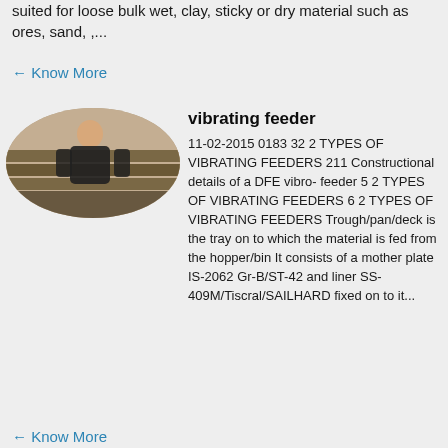suited for loose bulk wet, clay, sticky or dry material such as ores, sand, ...
Know More
[Figure (photo): Oval photo of a person working near a vibrating feeder or material handling equipment]
vibrating feeder
11-02-2015 0183 32 2 TYPES OF VIBRATING FEEDERS 211 Constructional details of a DFE vibro- feeder 5 2 TYPES OF VIBRATING FEEDERS 6 2 TYPES OF VIBRATING FEEDERS Trough/pan/deck is the tray on to which the material is fed from the hopper/bin It consists of a mother plate IS-2062 Gr-B/ST-42 and liner SS- 409M/Tiscral/SAILHARD fixed on to it...
Know More
[Figure (photo): Oval photo of an aircraft or large vehicle/machine on a tarmac or open area]
vibrating feeder designs with rotor plates
Vibrating Feeder Designs With Rotor Plat